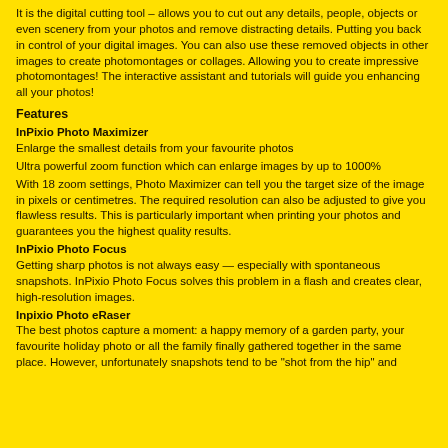It is the digital cutting tool – allows you to cut out any details, people, objects or even scenery from your photos and remove distracting details. Putting you back in control of your digital images. You can also use these removed objects in other images to create photomontages or collages. Allowing you to create impressive photomontages! The interactive assistant and tutorials will guide you enhancing all your photos!
Features
InPixio Photo Maximizer
Enlarge the smallest details from your favourite photos
Ultra powerful zoom function which can enlarge images by up to 1000%
With 18 zoom settings, Photo Maximizer can tell you the target size of the image in pixels or centimetres. The required resolution can also be adjusted to give you flawless results. This is particularly important when printing your photos and guarantees you the highest quality results.
InPixio Photo Focus
Getting sharp photos is not always easy — especially with spontaneous snapshots. InPixio Photo Focus solves this problem in a flash and creates clear, high-resolution images.
Inpixio Photo eRaser
The best photos capture a moment: a happy memory of a garden party, your favourite holiday photo or all the family finally gathered together in the same place. However, unfortunately snapshots tend to be "shot from the hip" and